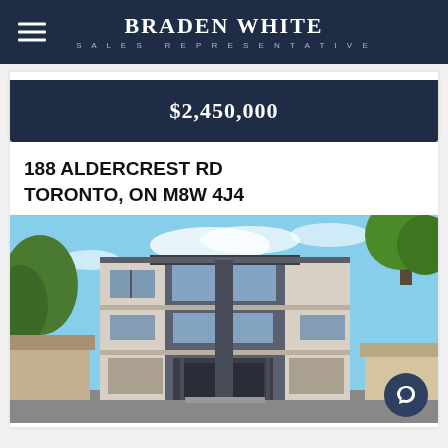BRADEN WHITE SALES REPRESENTATIVE
$2,450,000
188 ALDERCREST RD TORONTO, ON M8W 4J4
[Figure (photo): Exterior photo of a modern three-storey house with large windows, dark trim, light brick/tile cladding, and trees visible on both sides under a blue sky.]